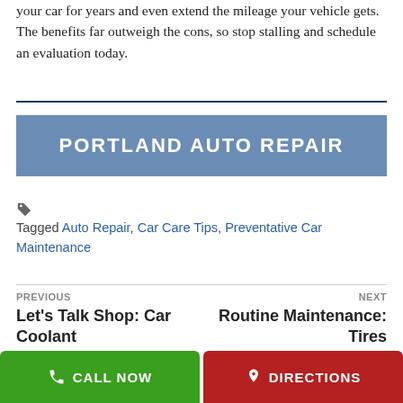your car for years and even extend the mileage your vehicle gets. The benefits far outweigh the cons, so stop stalling and schedule an evaluation today.
[Figure (logo): Portland Auto Repair banner with blue background and white bold uppercase text]
Tagged Auto Repair, Car Care Tips, Preventative Car Maintenance
PREVIOUS
Let's Talk Shop: Car Coolant
NEXT
Routine Maintenance: Tires
CALL NOW
DIRECTIONS